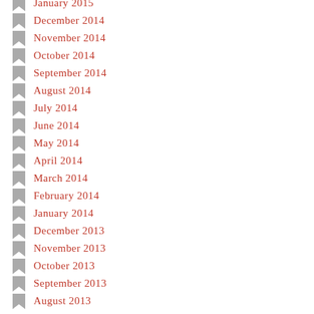January 2015
December 2014
November 2014
October 2014
September 2014
August 2014
July 2014
June 2014
May 2014
April 2014
March 2014
February 2014
January 2014
December 2013
November 2013
October 2013
September 2013
August 2013